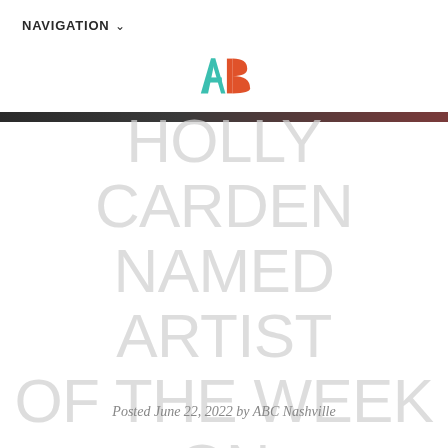NAVIGATION ∨
[Figure (logo): ABC Nashville logo — stylized 'AB' letters, A in teal/turquoise and B in orange-red]
HOLLY CARDEN NAMED ARTIST OF THE WEEK ON THE NASHVILLE SIGN
Posted June 22, 2022 by ABC Nashville